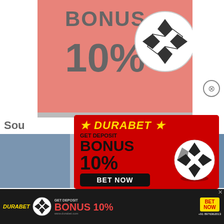[Figure (infographic): Background salmon/pink ad with BONUS 10% text and soccer ball]
[Figure (infographic): Main Durabet popup modal on red background: GET DEPOSIT BONUS 10%, BET NOW button, +91 8976362013 WhatsApp, soccer ball]
Sou
[Figure (infographic): Bottom banner: Durabet logo, soccer ball, GET DEPOSIT BONUS 10%, BET NOW, www.durabet.com, +91 8976362013]